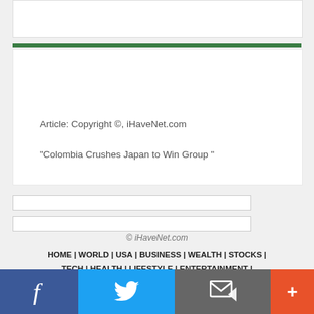[Figure (other): White box placeholder image area at top]
Article: Copyright ©, iHaveNet.com
"Colombia Crushes Japan to Win Group "
© iHaveNet.com
HOME | WORLD | USA | BUSINESS | WEALTH | STOCKS | TECH | HEALTH | LIFESTYLE | ENTERTAINMENT | SPORTS